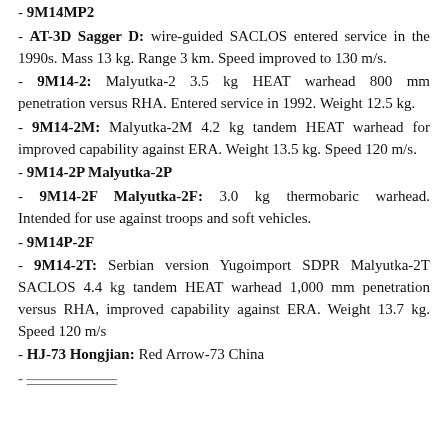- 9M14MP2
- AT-3D Sagger D: wire-guided SACLOS entered service in the 1990s. Mass 13 kg. Range 3 km. Speed improved to 130 m/s.
- 9M14-2: Malyutka-2 3.5 kg HEAT warhead 800 mm penetration versus RHA. Entered service in 1992. Weight 12.5 kg.
- 9M14-2M: Malyutka-2M 4.2 kg tandem HEAT warhead for improved capability against ERA. Weight 13.5 kg. Speed 120 m/s.
- 9M14-2P Malyutka-2P
- 9M14-2F Malyutka-2F: 3.0 kg thermobaric warhead. Intended for use against troops and soft vehicles.
- 9M14P-2F
- 9M14-2T: Serbian version Yugoimport SDPR Malyutka-2T SACLOS 4.4 kg tandem HEAT warhead 1,000 mm penetration versus RHA, improved capability against ERA. Weight 13.7 kg. Speed 120 m/s
- HJ-73 Hongjian: Red Arrow-73 China
- [partially visible]